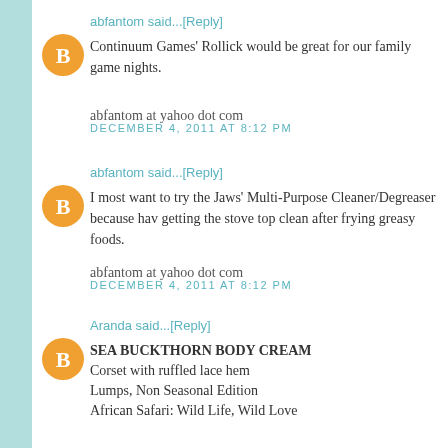abfantom said...[Reply]
Continuum Games' Rollick would be great for our family game nights.
abfantom at yahoo dot com
DECEMBER 4, 2011 AT 8:12 PM
abfantom said...[Reply]
I most want to try the Jaws' Multi-Purpose Cleaner/Degreaser because hav getting the stove top clean after frying greasy foods.
abfantom at yahoo dot com
DECEMBER 4, 2011 AT 8:12 PM
Aranda said...[Reply]
SEA BUCKTHORN BODY CREAM
Corset with ruffled lace hem
Lumps, Non Seasonal Edition
African Safari: Wild Life, Wild Love